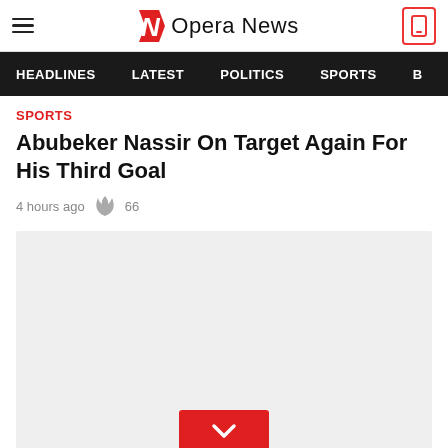Opera News
HEADLINES  LATEST  POLITICS  SPORTS
SPORTS
Abubeker Nassir On Target Again For His Third Goal
4 hours ago  66
[Figure (photo): Article image placeholder with a red chevron/down button at the bottom center]